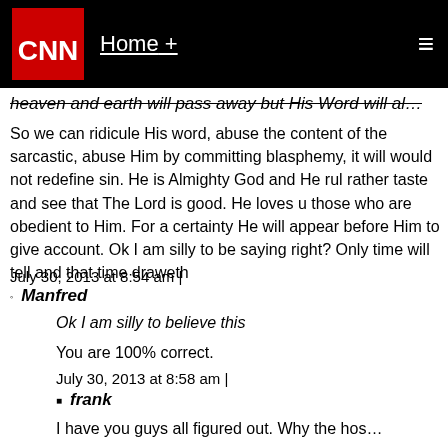CNN — Home +
heaven and earth will pass away but His Word will al…
So we can ridicule His word, abuse the content of the sarcastic, abuse Him by committing blasphemy, it will would not redefine sin. He is Almighty God and He rul rather taste and see that The Lord is good. He loves u those who are obedient to Him. For a certainty He will appear before Him to give account. Ok I am silly to be saying right? Only time will tell and that time draweth
July 30, 2013 at 8:54 am |
Manfred
Ok I am silly to believe this
You are 100% correct.
July 30, 2013 at 8:58 am |
frank
I have you guys all figured out. Why the hos…